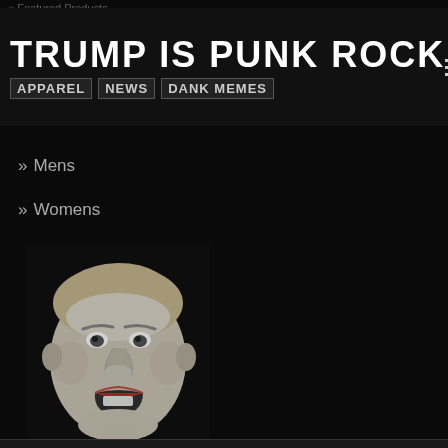Featured Products
TRUMP IS PUNK ROCK
APPAREL NEWS DANK MEMES
» Mens
» Womens
[Figure (photo): Black and white photo of Donald Trump's face with mouth open, on dark background]